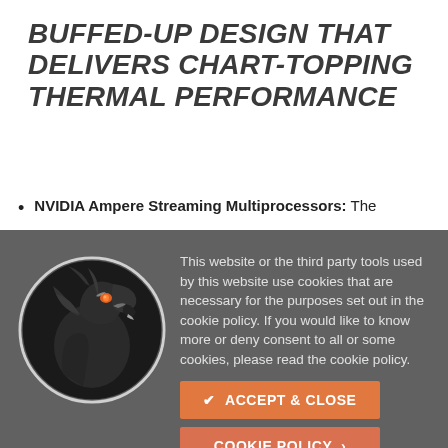BUFFED-UP DESIGN THAT DELIVERS CHART-TOPPING THERMAL PERFORMANCE
NVIDIA Ampere Streaming Multiprocessors: The
[Figure (logo): Black horse/dragon head logo inside a circle, esports-style mascot with orange accent eye]
This website or the third party tools used by this website use cookies that are necessary for the purposes set out in the cookie policy. If you would like to know more or deny consent to all or some cookies, please read the cookie policy.
✔ ACCEPT & CLOSE
COOKIE POLICY >